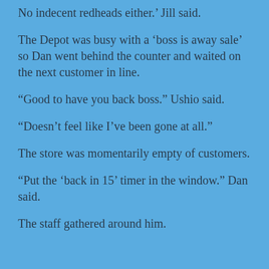No indecent redheads either.' Jill said.
The Depot was busy with a 'boss is away sale' so Dan went behind the counter and waited on the next customer in line.
“Good to have you back boss.” Ushio said.
“Doesn’t feel like I’ve been gone at all.”
The store was momentarily empty of customers.
“Put the ‘back in 15’ timer in the window.” Dan said.
The staff gathered around him.